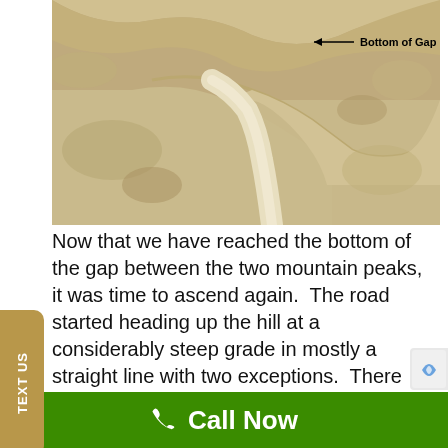[Figure (photo): Photograph of a rocky/sandy gap between two mountain peaks, labeled 'Bottom of Gap' with an arrow pointing left]
Now that we have reached the bottom of the gap between the two mountain peaks, it was time to ascend again.  The road started heading up the hill at a considerably steep grade in mostly a straight line with two exceptions.  There was a curve to the right in the road after 300 feet then another curve to the left after another 330 feet with a follow up
Call Now